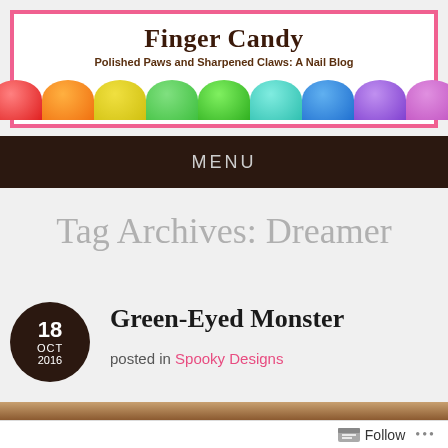Finger Candy
Polished Paws and Sharpened Claws: A Nail Blog
MENU
Tag Archives: Dreamer
18 OCT 2016
Green-Eyed Monster
posted in Spooky Designs